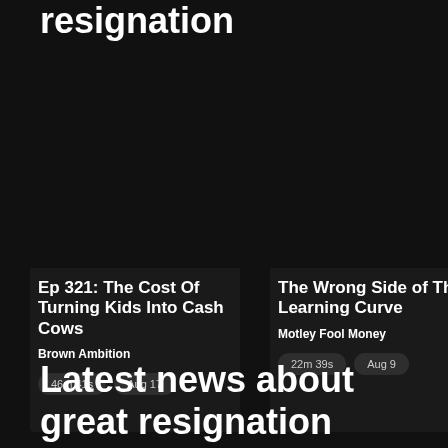resignation
Ep 321: The Cost Of Turning Kids Into Cash Cows
Brown Ambition
46m 41s  Aug 17
The Wrong Side of The Learning Curve
Motley Fool Money
22m 39s  Aug 9
Pau
Suc
Duri
Res
Hones SHRM
38
Latest news about great resignation